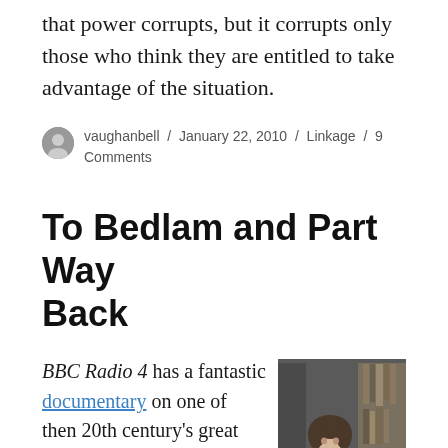that power corrupts, but it corrupts only those who think they are entitled to take advantage of the situation.
vaughanbell / January 22, 2010 / Linkage / 9 Comments
To Bedlam and Part Way Back
BBC Radio 4 has a fantastic documentary on one of then 20th century's great poets, Anne Sexton, who struggled with mental illness throughout her
[Figure (photo): Black and white photograph of Anne Sexton sitting at a desk, resting her head on her hand, with bookshelves in the background.]